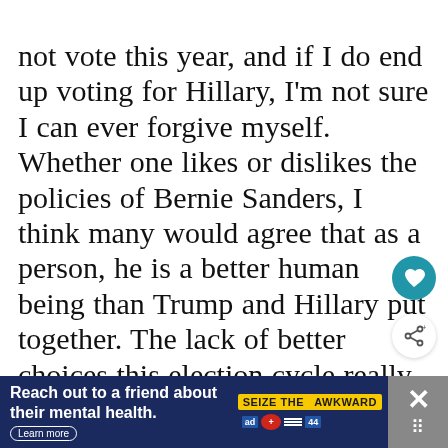not vote this year, and if I do end up voting for Hillary, I'm not sure I can ever forgive myself. Whether one likes or dislikes the policies of Bernie Sanders, I think many would agree that as a person, he is a better human being than Trump and Hillary put together. The lack of better choices this election cycle really frustrates me so much about the future of America, that it makes it so much easier to be leaving in the near future. JC
[Figure (other): Heart icon button (teal circle) and share icon button (white circle with shadow)]
[Figure (other): Advertisement banner: 'Reach out to a friend about their mental health. Learn more' with 'SEIZE THE AWKWARD' yellow badge and partner logos, with close button on right]